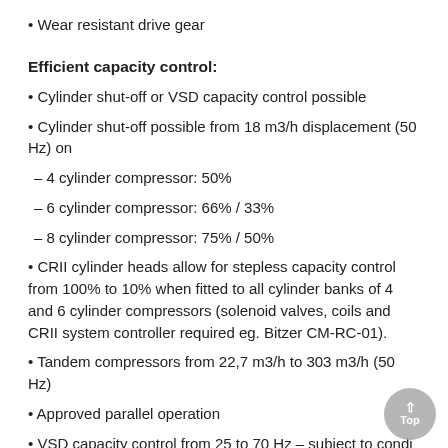Wear resistant drive gear
Efficient capacity control:
Cylinder shut-off or VSD capacity control possible
Cylinder shut-off possible from 18 m3/h displacement (50 Hz) on
– 4 cylinder compressor: 50%
– 6 cylinder compressor: 66% / 33%
– 8 cylinder compressor: 75% / 50%
CRII cylinder heads allow for stepless capacity control from 100% to 10% when fitted to all cylinder banks of 4 and 6 cylinder compressors (solenoid valves, coils and CRII system controller required eg. Bitzer CM-RC-01).
Tandem compressors from 22,7 m3/h to 303 m3/h (50 Hz)
Approved parallel operation
VSD capacity control from 25 to 70 Hz – subject to condi…